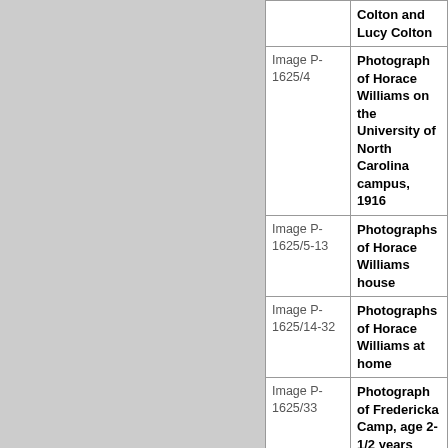| Reference | Title |
| --- | --- |
|  | Colton and Lucy Colton |
| Image P-1625/4 | Photograph of Horace Williams on the University of North Carolina campus, 1916 |
| Image P-1625/5-13 | Photographs of Horace Williams house |
| Image P-1625/14-32 | Photographs of Horace Williams at home |
| Image P-1625/33 | Photograph of Fredericka Camp, age 2-1/2 years |
| Oversize | Photograph |